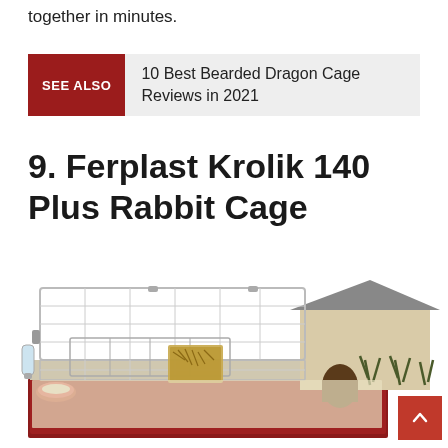together in minutes.
SEE ALSO  10 Best Bearded Dragon Cage Reviews in 2021
9. Ferplast Krolik 140 Plus Rabbit Cage
[Figure (photo): Product photo of the Ferplast Krolik 140 Plus Rabbit Cage showing a large wire-top cage with a beige house/hutch section on the right, a hay feeder in the middle, and a small red food bowl on the left. The base tray is dark maroon/red.]